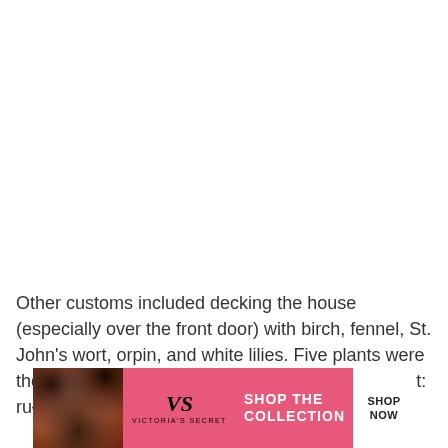Other customs included decking the house (especially over the front door) with birch, fennel, St. John's wort, orpin, and white lilies. Five plants were thought to have special magical properties on this t: rue, roses, St. John's wort, vervain and trefoil.
[Figure (illustration): Victoria's Secret advertisement banner with a woman model on the left, Victoria's Secret logo in the middle, 'SHOP THE COLLECTION' text, and a white 'SHOP NOW' button on the right, on a pink background.]